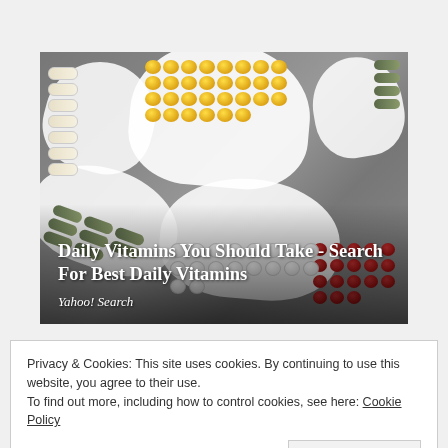[Figure (photo): Photo of various vitamin and supplement capsules in white spoon-shaped dishes on a marble surface. Includes yellow fish oil capsules, green herbal capsules, white/cream capsules, red gel capsules, and white tablets. Overlaid text reads 'Daily Vitamins You Should Take - Search For Best Daily Vitamins' and 'Yahoo! Search'.]
Privacy & Cookies: This site uses cookies. By continuing to use this website, you agree to their use.
To find out more, including how to control cookies, see here: Cookie Policy
Close and accept